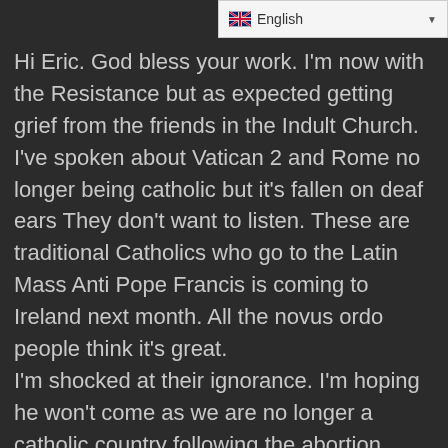English
Hi Eric. God bless your work. I'm now with the Resistance but as expected getting grief from the friends in the Indult Church. I've spoken about Vatican 2 and Rome no longer being catholic but it's fallen on deaf ears They don't want to listen. These are traditional Catholics who go to the Latin Mass Anti Pope Francis is coming to Ireland next month. All the novus ordo people think it's great.
I'm shocked at their ignorance. I'm hoping he won't come as we are no longer a catholic country following the abortion referendum. Outside forces incl Soros had a big part to play in that. Keep up the great work. I listen to you on U tube.
Regards.
Una Martin ( Ireland )